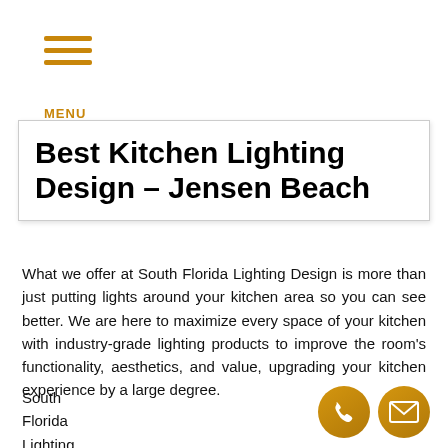MENU
Best Kitchen Lighting Design – Jensen Beach
What we offer at South Florida Lighting Design is more than just putting lights around your kitchen area so you can see better. We are here to maximize every space of your kitchen with industry-grade lighting products to improve the room's functionality, aesthetics, and value, upgrading your kitchen experience by a large degree.
South Florida Lighting Design has the full set of
[Figure (illustration): Two circular golden/amber colored contact icons: a phone handset icon and an envelope/mail icon]